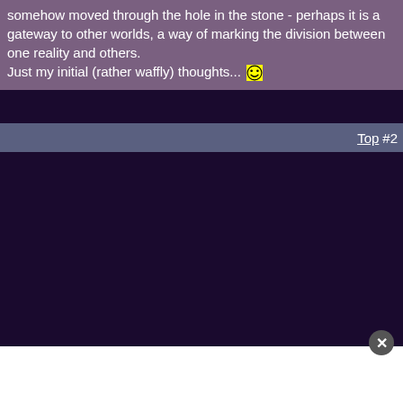somehow moved through the hole in the stone - perhaps it is a gateway to other worlds, a way of marking the division between one reality and others.
Just my initial (rather waffly) thoughts... :)
Top #2
[Figure (screenshot): Dark purple background area (empty forum content area)]
[Figure (screenshot): White panel at bottom of page, partially visible, with close button (x) overlay]